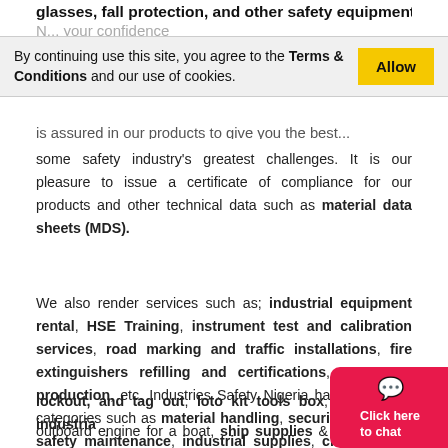glasses, fall protection, and other safety equipment in N... your confidence is assured in our products to give you the best...
By continuing use this site, you agree to the Terms & Conditions and our use of cookies. [Allow]
some safety industry's greatest challenges. It is our pleasure to issue a certificate of compliance for our products and other technical data such as material data sheets (MDS).
We also render services such as; industrial equipment rental, HSE Training, instrument test and calibration services, road marking and traffic installations, fire extinguishers refilling and certifications, cargo net production, etc. Industries Safety Nigeria has a range of categories such as material handling, security products, safety maintenance, industrial supplies, cleaning and janitorial, etc. We also deal in some special products and categories like eyewash station and shower, safety lockout, and tag out, loto kit tools box, industrial outboard engine for a boat, ship supplies & more. other products & categories should Cheers...
Click here to chat